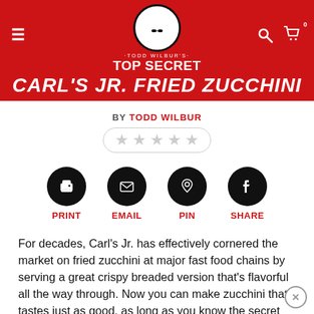Todd Wilbur's Top Secret Recipes
CARL'S JR. FRIED ZUCCHINI
BY TODD WILBUR
[Figure (infographic): Social sharing icons row: Print, Email, Pin, Share]
For decades, Carl's Jr. has effectively cornered the market on fried zucchini at major fast food chains by serving a great crispy breaded version that's flavorful all the way through. Now you can make zucchini that tastes just as good, as long as you know the secret step that other fried zucchini recipes miss. It makes all the difference.